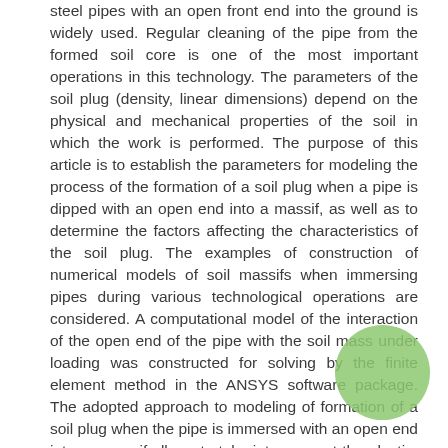steel pipes with an open front end into the ground is widely used. Regular cleaning of the pipe from the formed soil core is one of the most important operations in this technology. The parameters of the soil plug (density, linear dimensions) depend on the physical and mechanical properties of the soil in which the work is performed. The purpose of this article is to establish the parameters for modeling the process of the formation of a soil plug when a pipe is dipped with an open end into a massif, as well as to determine the factors affecting the characteristics of the soil plug. The examples of construction of numerical models of soil massifs when immersing pipes during various technological operations are considered. A computational model of the interaction of the open end of the pipe with the soil mass under loading was constructed for solving by the finite element method in the ANSYS software package. The adopted approach to modeling of formation of a soil plug when the pipe is immersed with an open end into an massif allows to take into account the elastic-plastic properties of the soil, makes it possible to solve the contact problem for the system “surface of the pipe-soil array”. The main limitations and assumptions in modeling the process associated with the amount of computing resources are revealed. The results can be used to build a model of the interaction of the system, as well as in developing a computational model of the process of the combined cleaning of the pipe from the soil core.
[Figure (illustration): Green circle decorative element overlapping text in bottom-right area]